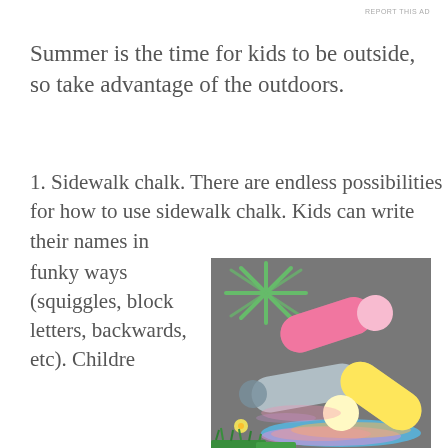REPORT THIS AD
Summer is the time for kids to be outside, so take advantage of the outdoors.
1. Sidewalk chalk. There are endless possibilities for how to use sidewalk chalk. Kids can write their names in funky ways (squiggles, block letters, backwards, etc). Childre
[Figure (photo): Photo of colorful sidewalk chalk pieces (pink, yellow, gray/lavender) resting on pavement covered with colorful chalk drawings including green leaf/star shapes and rainbow streaks.]